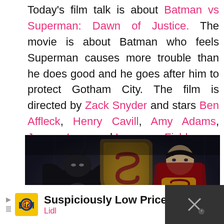Today's film talk is about Batman vs Superman: Dawn of Justice. The movie is about Batman who feels Superman causes more trouble than he does good and he goes after him to protect Gotham City. The film is directed by Zack Snyder and stars Ben Affleck, Henry Cavill, Amy Adams, Jeremy Irons and Laurence Fishburne.
[Figure (photo): A dark promotional image for Batman vs Superman: Dawn of Justice showing Batman on the left in dark armor and Superman on the right in his suit, with the large Superman 'S' shield emblem in the center background.]